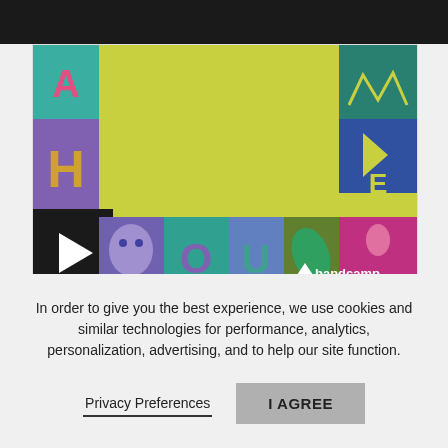[Figure (screenshot): Bandcamp music player showing album art with colorful letter tiles border on yellow background, play button overlay, and Bandcamp logo watermark]
Rest In Fleas
buy
by cloud becomes your hand
Bridge of Ignorance Returns
00:00 / 05:37
In order to give you the best experience, we use cookies and similar technologies for performance, analytics, personalization, advertising, and to help our site function.
Privacy Preferences
I AGREE